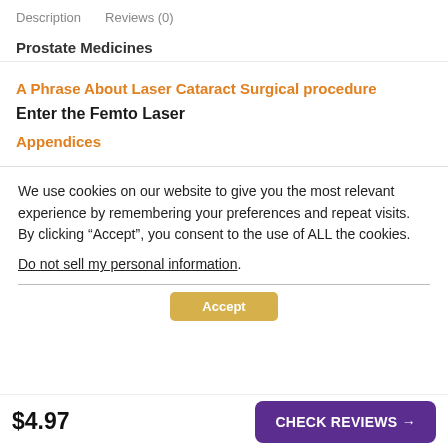Description   Reviews (0)
Prostate Medicines
A Phrase About Laser Cataract Surgical procedure
Enter the Femto Laser
Appendices
We use cookies on our website to give you the most relevant experience by remembering your preferences and repeat visits. By clicking “Accept”, you consent to the use of ALL the cookies. Do not sell my personal information.
$4.97
CHECK REVIEWS →